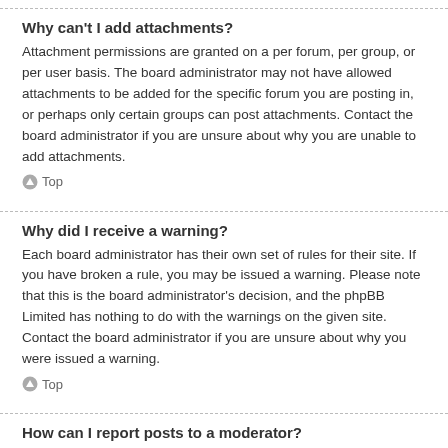Why can't I add attachments?
Attachment permissions are granted on a per forum, per group, or per user basis. The board administrator may not have allowed attachments to be added for the specific forum you are posting in, or perhaps only certain groups can post attachments. Contact the board administrator if you are unsure about why you are unable to add attachments.
Top
Why did I receive a warning?
Each board administrator has their own set of rules for their site. If you have broken a rule, you may be issued a warning. Please note that this is the board administrator's decision, and the phpBB Limited has nothing to do with the warnings on the given site. Contact the board administrator if you are unsure about why you were issued a warning.
Top
How can I report posts to a moderator?
If the board administrator has allowed it, you should see a button for reporting posts next to the post you wish to report. Clicking this will walk